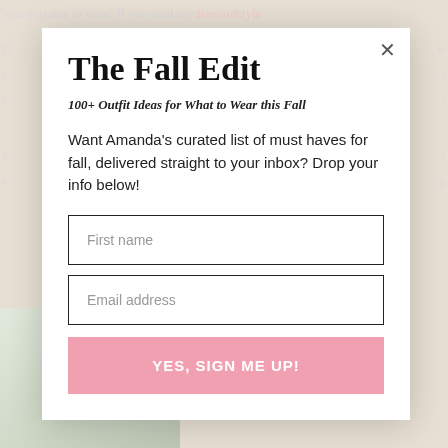[Figure (screenshot): Background webpage content partially visible behind a modal popup, showing blurred text and a floral/nature image at bottom left]
The Fall Edit
100+ Outfit Ideas for What to Wear this Fall
Want Amanda's curated list of must haves for fall, delivered straight to your inbox? Drop your info below!
First name
Email address
YES, SIGN ME UP!